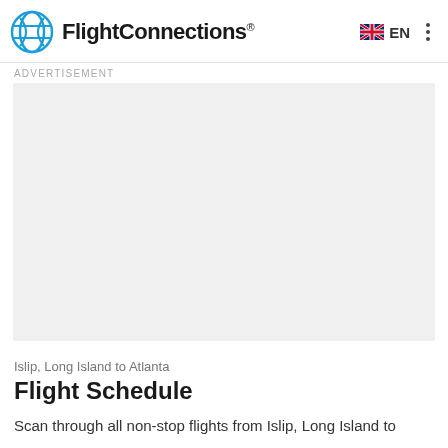FlightConnections® EN
[Figure (other): Advertisement placeholder block — large grey rectangle]
Islip, Long Island to Atlanta
Flight Schedule
Scan through all non-stop flights from Islip, Long Island to